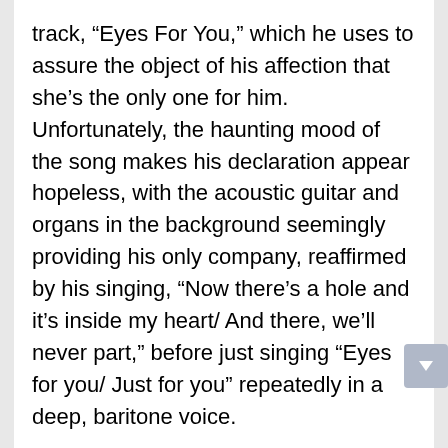track, “Eyes For You,” which he uses to assure the object of his affection that she’s the only one for him. Unfortunately, the haunting mood of the song makes his declaration appear hopeless, with the acoustic guitar and organs in the background seemingly providing his only company, reaffirmed by his singing, “Now there’s a hole and it’s inside my heart/ And there, we’ll never part,” before just singing “Eyes for you/ Just for you” repeatedly in a deep, baritone voice.
While this last track dampens the joyousness of the album, it is picked right back up with the song, “Good Times.” Despite singing about how his money is running out and his “good times are coming to an end,” he presents both almost